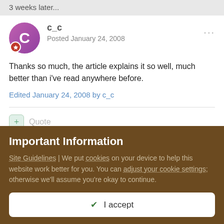3 weeks later...
[Figure (illustration): User avatar circle with letter C in purple/pink gradient, with a red badge icon at bottom left]
c_c
Posted January 24, 2008
Thanks so much, the article explains it so well, much better than i've read anywhere before.
Edited January 24, 2008 by c_c
+ Quote
Important Information
Site Guidelines | We put cookies on your device to help this website work better for you. You can adjust your cookie settings; otherwise we'll assume you're okay to continue.
✓  I accept